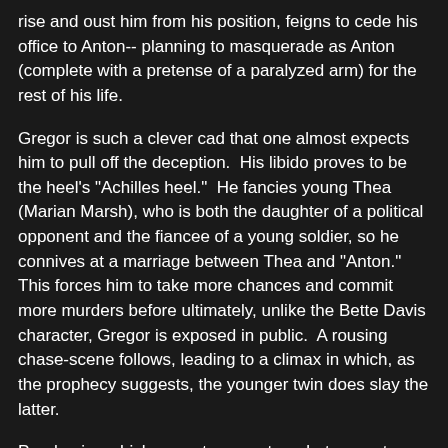rise and oust him from his position, feigns to cede his office to Anton-- planning to masquerade as Anton (complete with a pretense of a paralyzed arm) for the rest of his life.
Gregor is such a clever cad that one almost expects him to pull off the deception.  His libido proves to be the heel's "Achilles heel."  He fancies young Thea (Marian Marsh), who is both the daughter of a political opponent and the fiancee of a young soldier, so he connives at a marriage between Thea and "Anton."  This forces him to take more chances and commit more murders before ultimately, unlike the Bette Davis character, Gregor is exposed in public.  A rousing chase-scene follows, leading to a climax in which, as the prophecy suggests, the younger twin does slay the latter.
Prophecies which seem to come true, but are not actually dispensed by gods or psychics, I deem "uncanny" under my category of "phantasmal figurations," in that their provenance is questionable at some time during the story.  But even without this aspect of the film, Neill confers a sense of  "strangeness" to the proceedings.  It's certainly possible that another filmmakers might have taken the same plot-